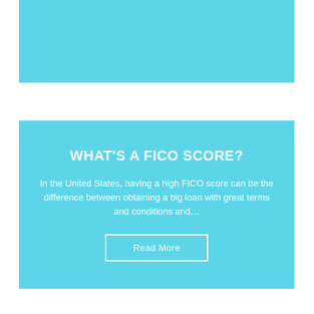[Figure (other): Top teal/light-blue banner image area]
WHAT'S A FICO SCORE?
In the United States, having a high FICO score can be the difference between obtaining a big loan with great terms and conditions and...
Read More